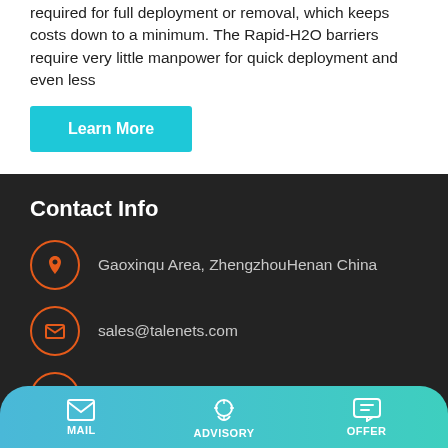required for full deployment or removal, which keeps costs down to a minimum. The Rapid-H2O barriers require very little manpower for quick deployment and even less
Learn More
Contact Info
Gaoxinqu Area, ZhengzhouHenan China
sales@talenets.com
0086-371-60922096
MAIL   ADVISORY   OFFER